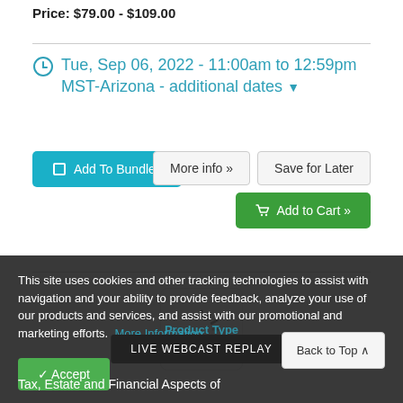Price: $79.00 - $109.00
Tue, Sep 06, 2022 - 11:00am to 12:59pm MST-Arizona - additional dates ▾
Add To Bundles
More info »
Save for Later
Add to Cart »
[Figure (other): Loading spinner icon inside a rounded rectangle box]
This site uses cookies and other tracking technologies to assist with navigation and your ability to provide feedback, analyze your use of our products and services, and assist with our promotional and marketing efforts.  More Information
Accept
Product Type
LIVE WEBCAST REPLAY
Back to Top ∧
Tax, Estate and Financial Aspects of